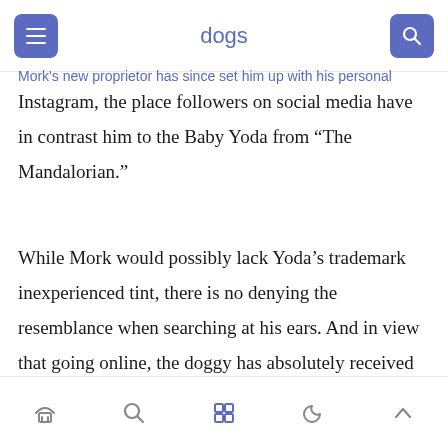dogs
Mork's new proprietor has since set him up with his personal Instagram, the place followers on social media have in contrast him to the Baby Yoda from “The Mandalorian.”
While Mork would possibly lack Yoda’s trademark inexperienced tint, there is no denying the resemblance when searching at his ears. And in view that going online, the doggy has absolutely received himself lots of followers – many of whom have commented on his images.
Navigation bar with home, search, grid, moon, and up-arrow icons